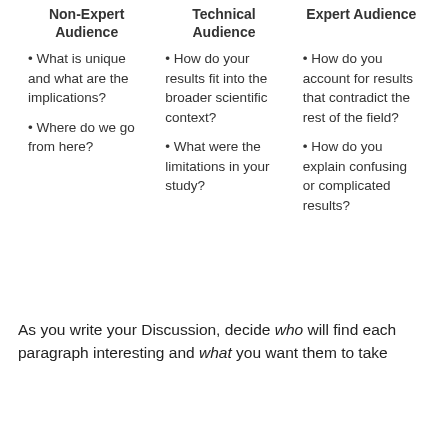| Non-Expert Audience | Technical Audience | Expert Audience |
| --- | --- | --- |
| • What is unique and what are the implications?

• Where do we go from here? | • How do your results fit into the broader scientific context?

• What were the limitations in your study? | • How do you account for results that contradict the rest of the field?

• How do you explain confusing or complicated results? |
As you write your Discussion, decide who will find each paragraph interesting and what you want them to take